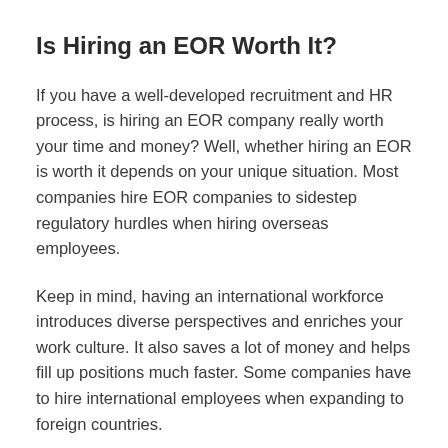Is Hiring an EOR Worth It?
If you have a well-developed recruitment and HR process, is hiring an EOR company really worth your time and money? Well, whether hiring an EOR is worth it depends on your unique situation. Most companies hire EOR companies to sidestep regulatory hurdles when hiring overseas employees.
Keep in mind, having an international workforce introduces diverse perspectives and enriches your work culture. It also saves a lot of money and helps fill up positions much faster. Some companies have to hire international employees when expanding to foreign countries.